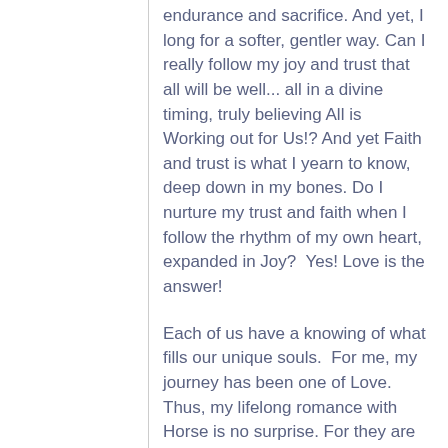endurance and sacrifice. And yet, I long for a softer, gentler way. Can I really follow my joy and trust that all will be well... all in a divine timing, truly believing All is Working out for Us!? And yet Faith and trust is what I yearn to know, deep down in my bones. Do I nurture my trust and faith when I follow the rhythm of my own heart, expanded in Joy?  Yes! Love is the answer!
Each of us have a knowing of what fills our unique souls.  For me, my journey has been one of Love.  Thus, my lifelong romance with Horse is no surprise. For they are my most compassionate Love & Intention teachers. So here I find myself once